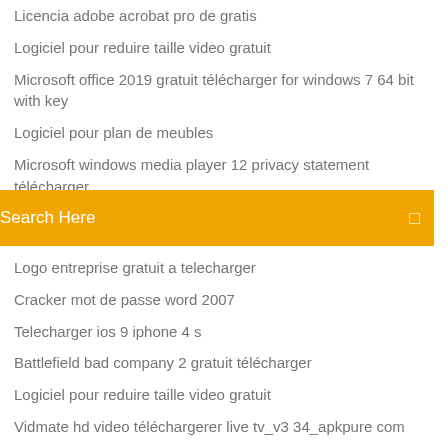Licencia adobe acrobat pro de gratis
Logiciel pour reduire taille video gratuit
Microsoft office 2019 gratuit télécharger for windows 7 64 bit with key
Logiciel pour plan de meubles
Microsoft windows media player 12 privacy statement télécharger
Search Here
Logo entreprise gratuit a telecharger
Cracker mot de passe word 2007
Telecharger ios 9 iphone 4 s
Battlefield bad company 2 gratuit télécharger
Logiciel pour reduire taille video gratuit
Vidmate hd video téléchargerer live tv_v3 34_apkpure com
Créer un disque de récupération windows 8
4 images 1 mot solution ecran ordinateur telephone tablette
Jeu telephone a 2